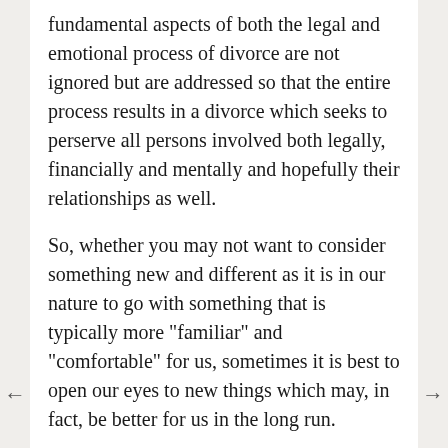fundamental aspects of both the legal and emotional process of divorce are not ignored but are addressed so that the entire process results in a divorce which seeks to perserve all persons involved both legally, financially and mentally and hopefully their relationships as well.
So, whether you may not want to consider something new and different as it is in our nature to go with something that is typically more "familiar" and "comfortable" for us, sometimes it is best to open our eyes to new things which may, in fact, be better for us in the long run.
I have no doubt that collaborative divorce and divorce coaching are both here to stay.